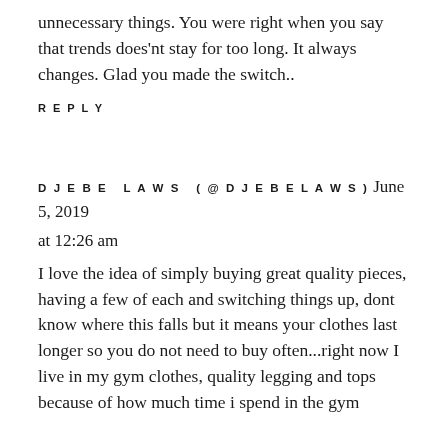unnecessary things. You were right when you say that trends does'nt stay for too long. It always changes. Glad you made the switch..
REPLY
DJEBE LAWS (@DJEBELAWS) June 5, 2019 at 12:26 am
I love the idea of simply buying great quality pieces, having a few of each and switching things up, dont know where this falls but it means your clothes last longer so you do not need to buy often...right now I live in my gym clothes, quality legging and tops because of how much time i spend in the gym